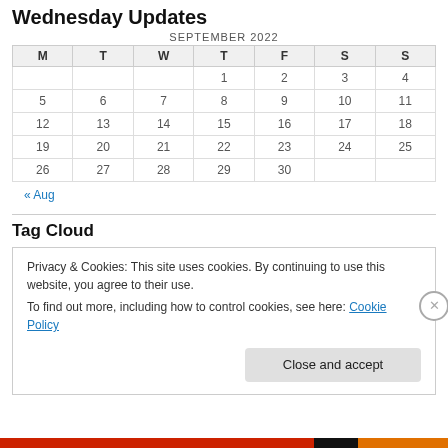Wednesday Updates
| M | T | W | T | F | S | S |
| --- | --- | --- | --- | --- | --- | --- |
|  |  |  | 1 | 2 | 3 | 4 |
| 5 | 6 | 7 | 8 | 9 | 10 | 11 |
| 12 | 13 | 14 | 15 | 16 | 17 | 18 |
| 19 | 20 | 21 | 22 | 23 | 24 | 25 |
| 26 | 27 | 28 | 29 | 30 |  |  |
« Aug
Tag Cloud
Privacy & Cookies: This site uses cookies. By continuing to use this website, you agree to their use.
To find out more, including how to control cookies, see here: Cookie Policy